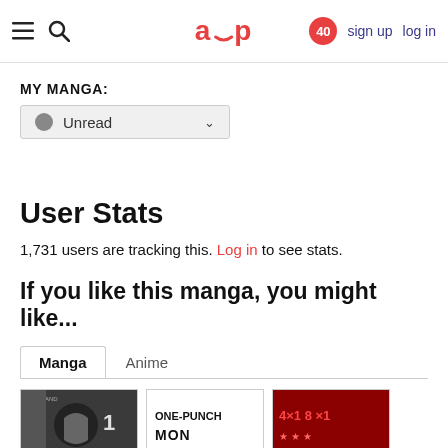aup — sign up  log in
MY MANGA:
Unread
User Stats
1,731 users are tracking this. Log in to see stats.
If you like this manga, you might like...
Manga  Anime